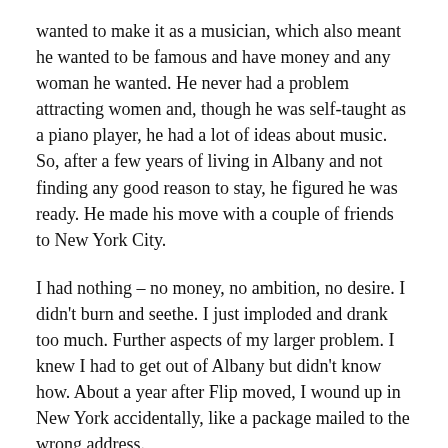wanted to make it as a musician, which also meant he wanted to be famous and have money and any woman he wanted. He never had a problem attracting women and, though he was self-taught as a piano player, he had a lot of ideas about music. So, after a few years of living in Albany and not finding any good reason to stay, he figured he was ready. He made his move with a couple of friends to New York City.
I had nothing – no money, no ambition, no desire. I didn't burn and seethe. I just imploded and drank too much. Further aspects of my larger problem. I knew I had to get out of Albany but didn't know how. About a year after Flip moved, I wound up in New York accidentally, like a package mailed to the wrong address.
Once we reconnected in the city of dreams, Flip was always trying to put a fire under me, to get me excited about something. I think my directionless, lazy, time-wasting ways – which had survived the move completely intact – pissed him off and worried him. Here I was in